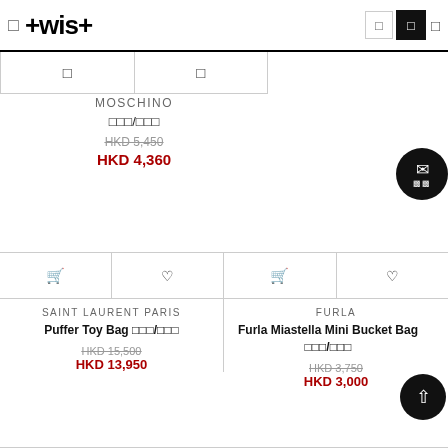twist
MOSCHINO
□□□/□□□
HKD 5,450 HKD 4,360
SAINT LAURENT PARIS
Puffer Toy Bag □□□/□□□
HKD 15,500 HKD 13,950
FURLA
Furla Miastella Mini Bucket Bag □□□/□□□
HKD 3,750 HKD 3,000